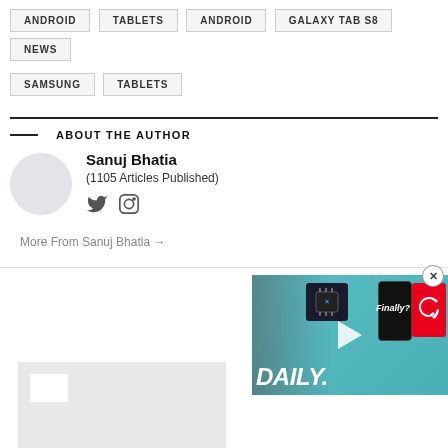ANDROID
TABLETS
ANDROID
GALAXY TAB S8
NEWS
SAMSUNG
TABLETS
ABOUT THE AUTHOR
Sanuj Bhatia
(1105 Articles Published)
More From Sanuj Bhatia →
[Figure (screenshot): Video thumbnail showing a person with tech content, text DAILY and Finally?]